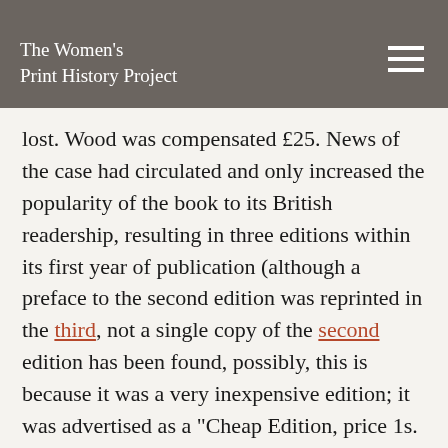The Women's Print History Project
lost. Wood was compensated £25. News of the case had circulated and only increased the popularity of the book to its British readership, resulting in three editions within its first year of publication (although a preface to the second edition was reprinted in the third, not a single copy of the second edition has been found, possibly, this is because it was a very inexpensive edition; it was advertised as a “Cheap Edition, price 1s. for single copies, and 6d. each, if 25 or more are ordered”). After these trials, Prince’s history is unknown: there was no trace of her after she testified in the two libel trials––she